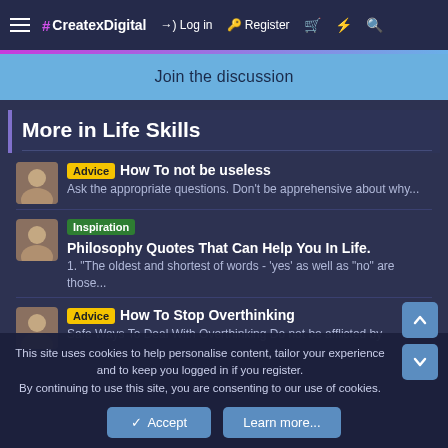≡ #CreatexDigital  →) Log in  ⌀ Register  🛒  ⚡  🔍
Join the discussion
More in Life Skills
[Advice] How To not be useless — Ask the appropriate questions. Don't be apprehensive about why...
[Inspiration] Philosophy Quotes That Can Help You In Life. — 1. "The oldest and shortest of words - 'yes' as well as "no" are those...
[Advice] How To Stop Overthinking — Safe Ways To Deal With Overthinking Do not be afflicted by
This site uses cookies to help personalise content, tailor your experience and to keep you logged in if you register.
By continuing to use this site, you are consenting to our use of cookies.
✓ Accept   Learn more...